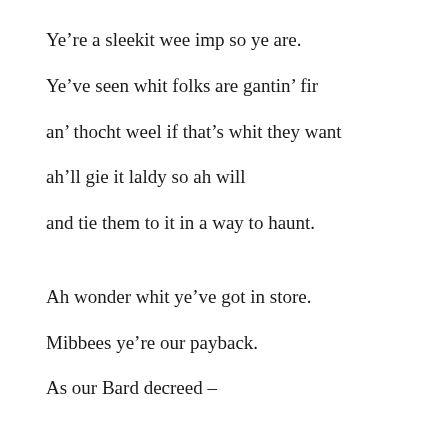Ye're a sleekit wee imp so ye are.
Ye've seen whit folks are gantin' fir
an' thocht weel if that's whit they want
ah'll gie it laldy so ah will
and tie them to it in a way to haunt.
Ah wonder whit ye've got in store.
Mibbees ye're our payback.
As our Bard decreed –